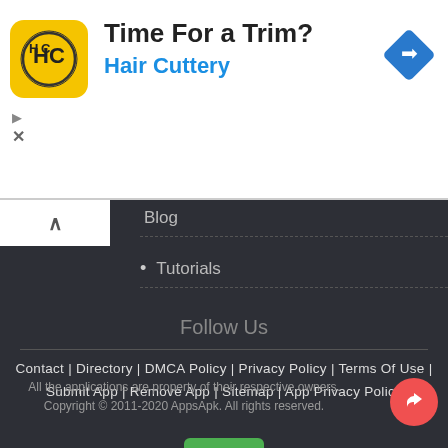[Figure (infographic): Hair Cuttery advertisement banner with yellow square logo showing HC letters, text 'Time For a Trim?' and 'Hair Cuttery' in blue, and a blue diamond navigation icon on the right]
Blog
Tutorials
Follow Us
Contact | Directory | DMCA Policy | Privacy Policy | Terms Of Use | Submit App | Remove App | Sitemap | App Privacy Policy
All the applications are property of their respective owners.
Copyright © 2011-2020 AppsApk. All rights reserved.